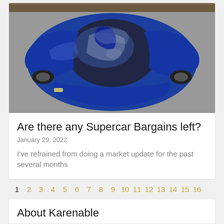[Figure (photo): Aerial/top-down view of a blue supercar (sports car) photographed from above, showing the roof, open door, and reflective paintwork on a pavement background.]
Are there any Supercar Bargains left?
January 29, 2022
I've refrained from doing a market update for the past several months
1 2 3 4 5 6 7 8 9 10 11 12 13 14 15 16
About Karenable